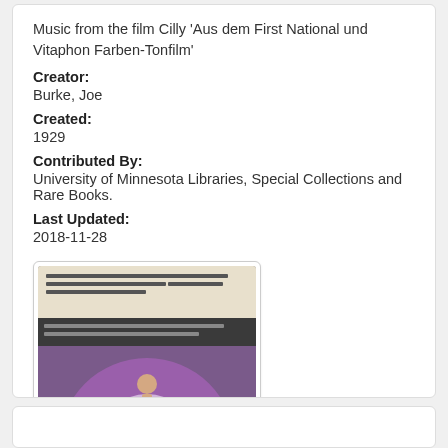Music from the film Cilly 'Aus dem First National und Vitaphon Farben-Tonfilm'
Creator:
Burke, Joe
Created:
1929
Contributed By:
University of Minnesota Libraries, Special Collections and Rare Books.
Last Updated:
2018-11-28
[Figure (photo): Thumbnail image of sheet music cover for Cilly film, featuring a ballerina dancer on a purple circular background with text 'Aus dem First National und Vitaphon Farben-Tonfilm Cilly']